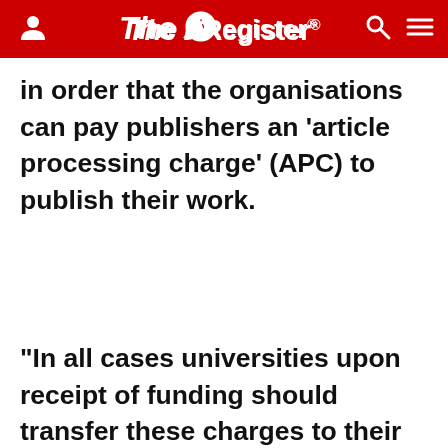The Register
in order that the organisations can pay publishers an 'article processing charge' (APC) to publish their work.
"In all cases universities upon receipt of funding should transfer these charges to their institutional publication fund." Universities and Science Minister David Willotts